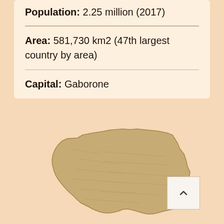Population: 2.25 million (2017)
Area: 581,730 km2 (47th largest country by area)
Capital: Gaborone
[Figure (map): Sepia-toned silhouette map of Botswana showing the country's geographic shape with textured terrain detail]